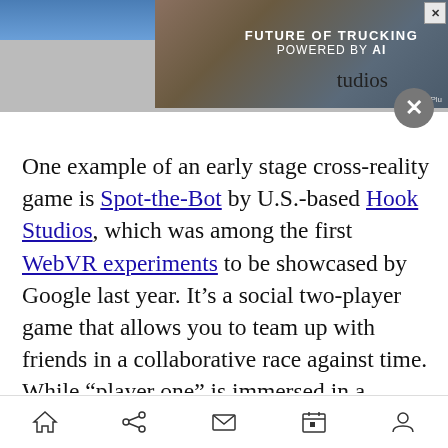[Figure (screenshot): Advertisement banner showing a truck with text 'FUTURE OF TRUCKING POWERED BY AI' and a close button]
One example of an early stage cross-reality game is Spot-the-Bot by U.S.-based Hook Studios, which was among the first WebVR experiments to be showcased by Google last year. It’s a social two-player game that allows you to team up with friends in a collaborative race against time. While “player one” is immersed in a virtual world filled with robots and parts, “player two” watches by using a mobile or desktop screen, serving as a spotter to helping player one to, you guessed it, “spot the bot” in VR. The WebXR API potentially opens the door to the third-mode of game play,
Navigation bar with home, share, mail, calendar, and profile icons